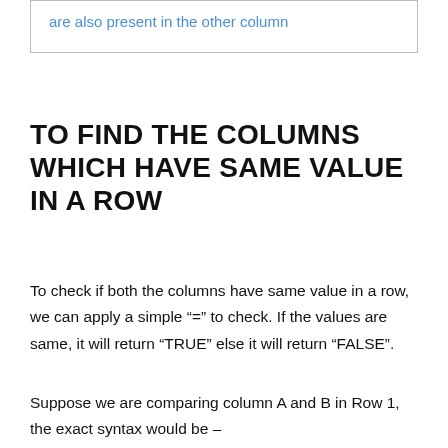are also present in the other column
TO FIND THE COLUMNS WHICH HAVE SAME VALUE IN A ROW
To check if both the columns have same value in a row, we can apply a simple “=” to check. If the values are same, it will return “TRUE” else it will return “FALSE”.
Suppose we are comparing column A and B in Row 1, the exact syntax would be –